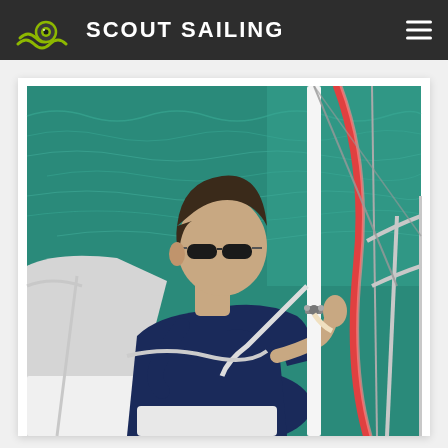SCOUT SAILING
[Figure (photo): A man wearing sunglasses and a navy blue shirt is sitting on the deck of a sailboat, handling ropes and rigging. The boat's stainless steel railings and colorful lines (red and white) are visible. Green-teal water is visible in the background.]